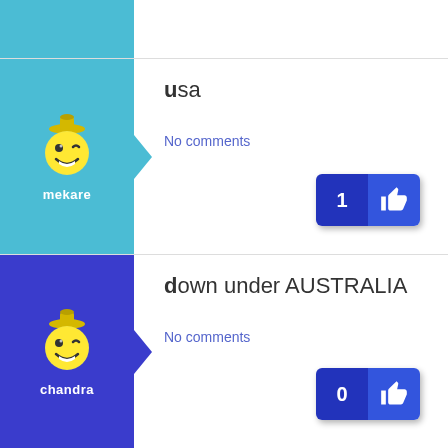[Figure (screenshot): Top strip teal area with white content area]
[Figure (illustration): User avatar panel for 'mekare' with teal background, winking smiley face mascot icon]
usa
No comments
[Figure (infographic): Like button showing count 1 with thumbs up icon, dark blue]
[Figure (illustration): User avatar panel for 'chandra' with blue/violet background, winking smiley face mascot icon]
down under AUSTRALIA
No comments
[Figure (infographic): Like button showing count 0 with thumbs up icon, dark blue]